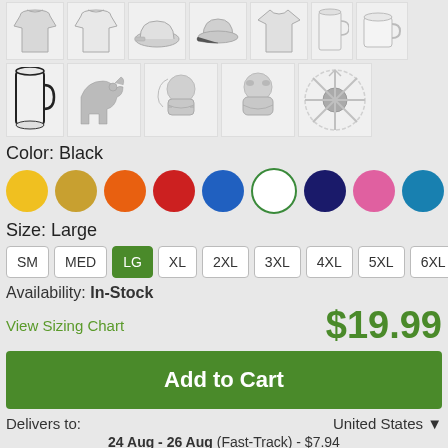[Figure (photo): Product thumbnail images: hoodies, hat, cap, t-shirts, mugs, and other items in two rows]
Color: Black
[Figure (other): Color selector circles: yellow, dark yellow, orange, red, blue, white (with green border), dark navy, pink, teal, black (selected with green checkmark)]
Size: Large
[Figure (other): Size selector buttons: SM, MED, LG (selected/green), XL, 2XL, 3XL, 4XL, 5XL, 6XL]
Availability: In-Stock
View Sizing Chart
$19.99
Add to Cart
Delivers to:
United States ▼
24 Aug - 26 Aug (Fast-Track) - $7.94